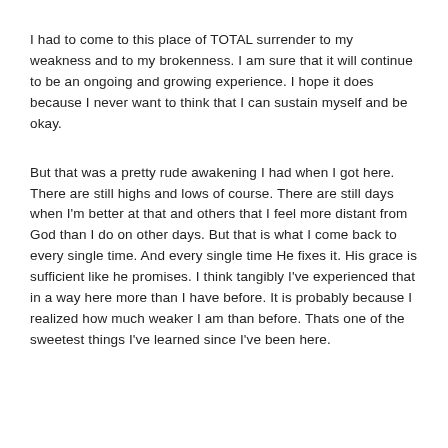I had to come to this place of TOTAL surrender to my weakness and to my brokenness. I am sure that it will continue to be an ongoing and growing experience. I hope it does because I never want to think that I can sustain myself and be okay.
But that was a pretty rude awakening I had when I got here. There are still highs and lows of course. There are still days when I'm better at that and others that I feel more distant from God than I do on other days. But that is what I come back to every single time. And every single time He fixes it. His grace is sufficient like he promises. I think tangibly I've experienced that in a way here more than I have before. It is probably because I realized how much weaker I am than before. Thats one of the sweetest things I've learned since I've been here.